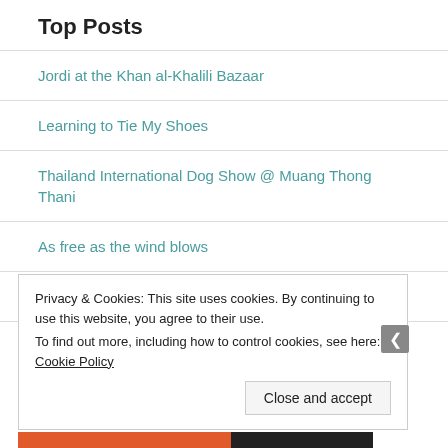Top Posts
Jordi at the Khan al-Khalili Bazaar
Learning to Tie My Shoes
Thailand International Dog Show @ Muang Thong Thani
As free as the wind blows
Christmas Weight Tip: Ramp up your running
Privacy & Cookies: This site uses cookies. By continuing to use this website, you agree to their use.
To find out more, including how to control cookies, see here: Cookie Policy
Close and accept